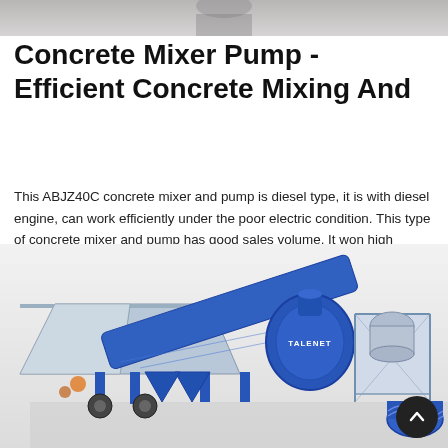[Figure (photo): Top portion of a concrete mixer pump machine photo, partially visible at the top of the page]
Concrete Mixer Pump - Efficient Concrete Mixing And
This ABJZ40C concrete mixer and pump is diesel type, it is with diesel engine, can work efficiently under the poor electric condition. This type of concrete mixer and pump has good sales volume. It won high praises from our customers. As you can see from this ...
[Figure (photo): 3D rendering of a TALENET branded concrete mixer pump machine with blue frame, mixing drum, conveyor, and hopper on a platform]
Learn More